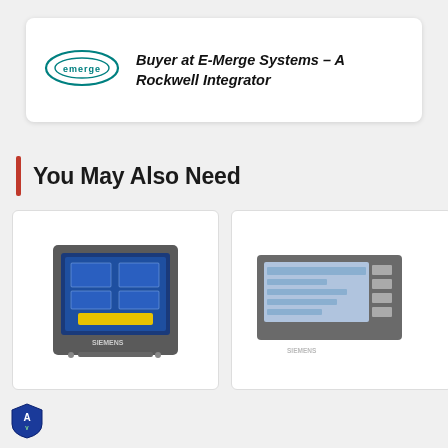Buyer at E-Merge Systems – A Rockwell Integrator
You May Also Need
[Figure (photo): Industrial HMI touch panel device - Siemens panel with blue screen display, left product card]
[Figure (photo): Industrial HMI touch panel device - smaller Siemens panel with screen, right product card (partially visible)]